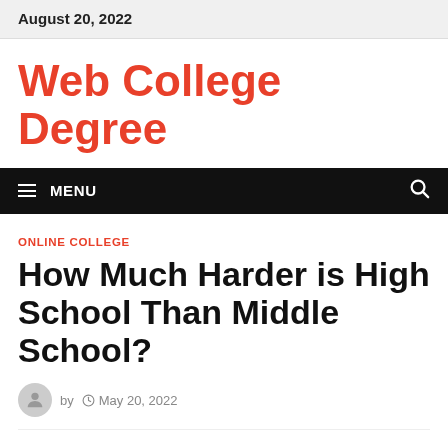August 20, 2022
Web College Degree
≡ MENU
ONLINE COLLEGE
How Much Harder is High School Than Middle School?
by  May 20, 2022